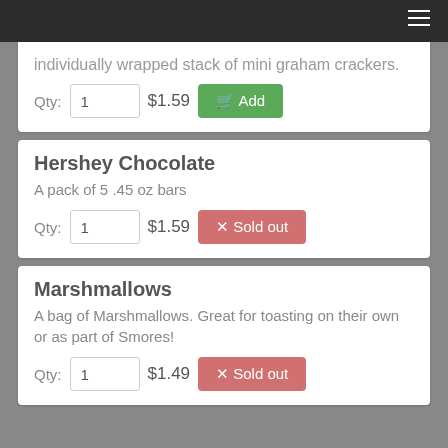individually wrapped stack of mini graham crackers.
Qty: 1  $1.59  Add
Hershey Chocolate
A pack of 5 .45 oz bars
Qty: 1  $1.59  Sold out
Marshmallows
A bag of Marshmallows. Great for toasting on their own or as part of Smores!
Qty: 1  $1.49  Sold out